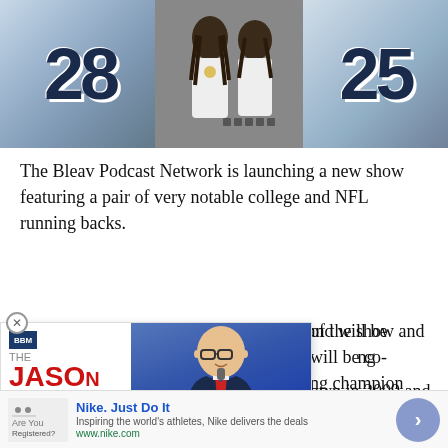[Figure (photo): Sports photo banner showing two football players in white jerseys with numbers 28 and 25 (Tennessee Titans), with a center inset photo of two people in casual clothing]
The Bleav Podcast Network is launching a new show featuring a pair of very notable college and NFL running backs.
Smash & Dash is the name of the show and will be co-hosted by rushing champion Chris Johnson and ...nite.
[Figure (infographic): Overlapping advertisement for 'The Jason Barrett Podcast' featuring a photo of Paul Finebaum with text 'PAUL FINEBAUM KNOWS THE POWER']
own in 2009 and was the NFL
[Figure (infographic): Nike advertisement: 'Nike. Just Do It' - Inspiring the world's athletes, Nike delivers the deals - www.nike.com]